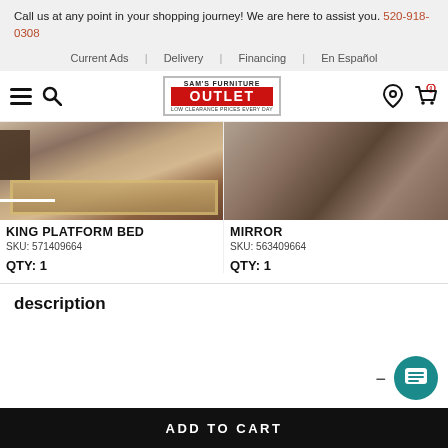Call us at any point in your shopping journey! We are here to assist you. 520-918-0308
Current Ads | Delivery | Financing | En Español
[Figure (screenshot): Sam's Furniture Outlet logo with hamburger menu, search icon, location pin, and shopping cart icons]
[Figure (photo): King platform bed with rug on hardwood floor]
[Figure (photo): Mirror product photo showing dark wood frame]
KING PLATFORM BED
SKU: 571409664
QTY: 1
MIRROR
SKU: 563409664
QTY: 1
description
ADD TO CART